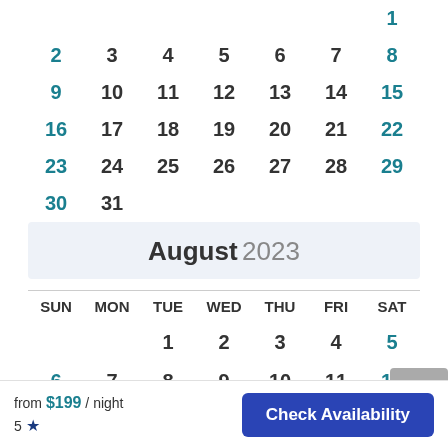| SUN | MON | TUE | WED | THU | FRI | SAT |
| --- | --- | --- | --- | --- | --- | --- |
|  |  |  |  |  |  | 1 |
| 2 | 3 | 4 | 5 | 6 | 7 | 8 |
| 9 | 10 | 11 | 12 | 13 | 14 | 15 |
| 16 | 17 | 18 | 19 | 20 | 21 | 22 |
| 23 | 24 | 25 | 26 | 27 | 28 | 29 |
| 30 | 31 |  |  |  |  |  |
August 2023
| SUN | MON | TUE | WED | THU | FRI | SAT |
| --- | --- | --- | --- | --- | --- | --- |
|  |  | 1 | 2 | 3 | 4 | 5 |
| 6 | 7 | 8 | 9 | 10 | 11 | 12 |
| 13 | 14 | 15 | 16 | 17 | 18 | 19 |
| 20 | 21 | 22 | 23 | 24 | 25 | 26 |
from $199 / night
5 ★
Check Availability